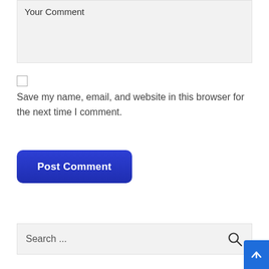Your Comment
Save my name, email, and website in this browser for the next time I comment.
Post Comment
Search ...